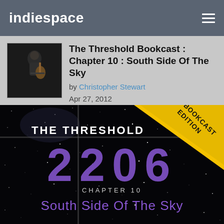indiespace
The Threshold Bookcast : Chapter 10 : South Side Of The Sky
by Christopher Stewart
Apr 27, 2012
[Figure (illustration): Book cover art for The Threshold 2206 Bookcast Edition, Chapter 10: South Side Of The Sky. Dark starfield background with large purple numerals '2 2 0 6', white text 'THE THRESHOLD' at top, yellow diagonal 'BOOKCAST EDITION' banner in top right corner, 'CHAPTER 10' in small caps below the numbers, and 'South Side Of The Sky' in purple below that.]